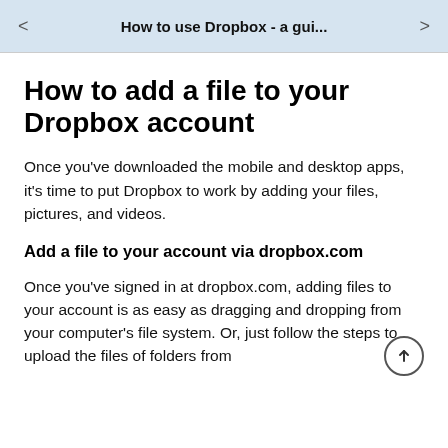How to use Dropbox - a gui...
How to add a file to your Dropbox account
Once you've downloaded the mobile and desktop apps, it's time to put Dropbox to work by adding your files, pictures, and videos.
Add a file to your account via dropbox.com
Once you've signed in at dropbox.com, adding files to your account is as easy as dragging and dropping from your computer's file system. Or, just follow the steps to upload the files of folders from